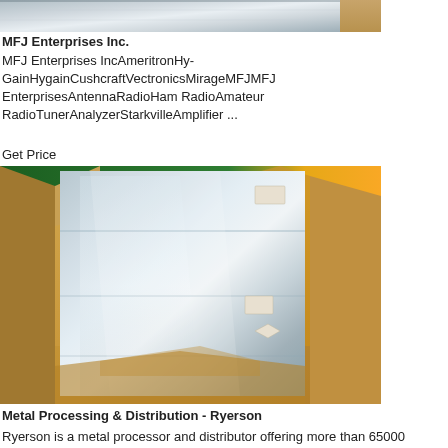[Figure (photo): Partial top view of shiny aluminum/metal sheet surface, close-up crop]
MFJ Enterprises Inc.
MFJ Enterprises IncAmeritronHy-GainHygainCushcraftVectronicsMirageMFJMFJ EnterprisesAntennaRadioHam RadioAmateur RadioTunerAnalyzerStarkvilleAmplifier ...
Get Price
[Figure (photo): Aluminum or stainless steel sheet metal bent/formed piece inside cardboard box packaging with brown kraft paper wrapping, on green and yellow background]
Metal Processing & Distribution - Ryerson
Ryerson is a metal processor and distributor offering more than 65000 varieties of stainless aluminum carbon and alloys in all shapes and sizes.
Get Price